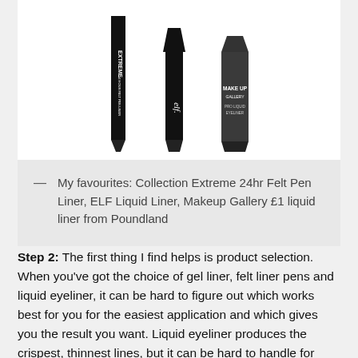[Figure (photo): Three eyeliner products displayed upright: Collection Extreme 24hr Felt Pen Liner, ELF Liquid Liner, and Makeup Gallery liquid liner from Poundland, on a white background.]
— My favourites: Collection Extreme 24hr Felt Pen Liner, ELF Liquid Liner, Makeup Gallery £1 liquid liner from Poundland
Step 2: The first thing I find helps is product selection. When you've got the choice of gel liner, felt liner pens and liquid eyeliner, it can be hard to figure out which works best for you for the easiest application and which gives you the result you want. Liquid eyeliner produces the crispest, thinnest lines, but it can be hard to handle for folks unfamiliar with it because it's so unforgiving. For this reason, I like to recommend minimizing the use of liquid